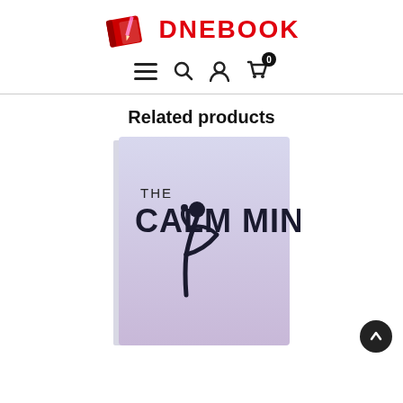DNEBOOK
Related products
[Figure (photo): Book cover of 'The Calm Mind' showing a yoga silhouette figure on a light lavender background]